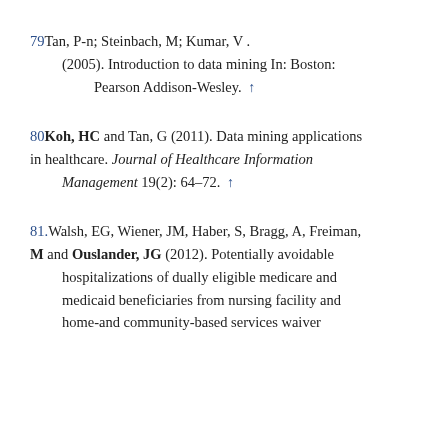79 Tan, P-n; Steinbach, M; Kumar, V. (2005). Introduction to data mining In: Boston: Pearson Addison-Wesley. ↑
80 Koh, HC and Tan, G (2011). Data mining applications in healthcare. Journal of Healthcare Information Management 19(2): 64–72. ↑
81. Walsh, EG, Wiener, JM, Haber, S, Bragg, A, Freiman, M and Ouslander, JG (2012). Potentially avoidable hospitalizations of dually eligible medicare and medicaid beneficiaries from nursing facility and home-and community-based services waiver